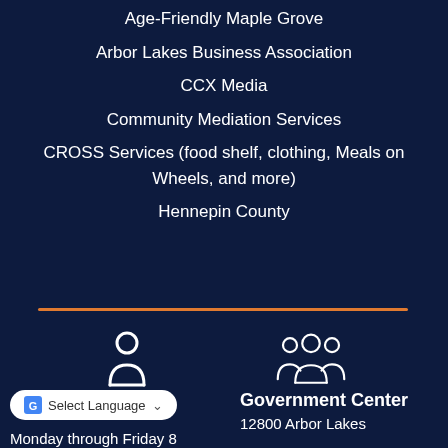Age-Friendly Maple Grove
Arbor Lakes Business Association
CCX Media
Community Mediation Services
CROSS Services (food shelf, clothing, Meals on Wheels, and more)
Hennepin County
[Figure (illustration): Orange horizontal divider line]
[Figure (illustration): Person icon (single user silhouette) and group icon (multiple users silhouette)]
Select Language
Government Center
Monday through Friday 8
12800 Arbor Lakes